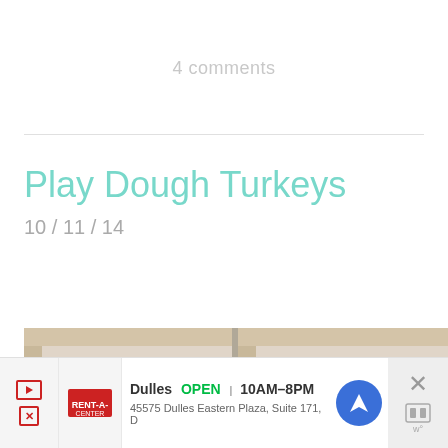4 comments
Play Dough Turkeys
10 / 11 / 14
[Figure (photo): Two wooden trays side by side. Left tray contains a round plastic container with brown/tan play dough. Right tray contains yellow feathers and red play dough visible at edge.]
Dulles  OPEN | 10AM–8PM  45575 Dulles Eastern Plaza, Suite 171, D